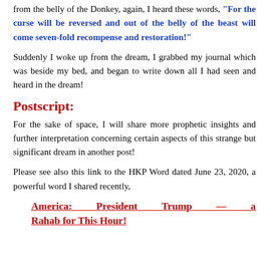And as I stood at the gold coins which was still gushing forth from the belly of the Donkey, again, I heard these words, "For the curse will be reversed and out of the belly of the beast will come seven-fold recompense and restoration!"
Suddenly I woke up from the dream, I grabbed my journal which was beside my bed, and began to write down all I had seen and heard in the dream!
Postscript:
For the sake of space, I will share more prophetic insights and further interpretation concerning certain aspects of this strange but significant dream in another post!
Please see also this link to the HKP Word dated June 23, 2020, a powerful word I shared recently,
America: President Trump — a Rahab for This Hour!